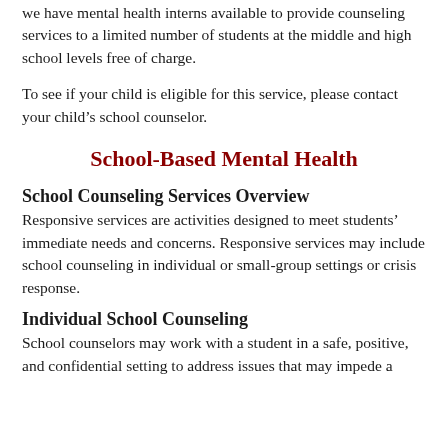we have mental health interns available to provide counseling services to a limited number of students at the middle and high school levels free of charge.
To see if your child is eligible for this service, please contact your child's school counselor.
School-Based Mental Health
School Counseling Services Overview
Responsive services are activities designed to meet students' immediate needs and concerns. Responsive services may include school counseling in individual or small-group settings or crisis response.
Individual School Counseling
School counselors may work with a student in a safe, positive, and confidential setting to address issues that may impede a